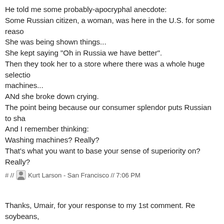He told me some probably-apocryphal anecdote:
Some Russian citizen, a woman, was here in the U.S. for some reason.
She was being shown things...
She kept saying "Oh in Russia we have better".
Then they took her to a store where there was a whole huge selection of washing machines...
ANd she broke down crying.
The point being because our consumer splendor puts Russian to shame.
And I remember thinking:
Washing machines? Really?
That's what you want to base your sense of superiority on?
Really?
# // Kurt Larson - San Francisco // 7:06 PM
Thanks, Umair, for your response to my 1st comment. Re soybeans, what I meant: "agricultural products don't cease to be important..." Any human citizens (which means all of them, until humans are replaced by...) to feed its people. If it can grow its own food, good; if it can grow its own some too, even better. America happens to do the latter, exporting a good deal and I think rice along with soybeans. Agriculture accounts for only 1.2% of GDP (Economist Pocket World in Figures, 2010 Ed.), and food & bev. makes a smaller proportion of exports than 4 other broad categories (capital supplies, consumer goods, and vehicles). Yes, agriculture won't do as the U.S. uses what I... it continues...